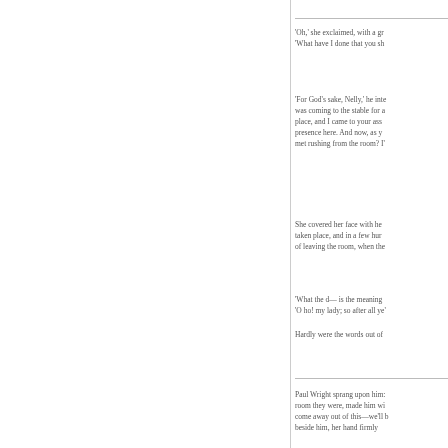'Oh,' she exclaimed, with a gr 'What have I done that you sh
'For God's sake, Nelly,' he inte was coming to the stable for a place, and I came to your ass presence here. And now, as y met rushing from the room? I'
She covered her face with he taken place, and in a few hur of leaving the room, when the
'What the d— is the meaning 'O ho! my lady; so after all ye'
Hardly were the words out of
Paul Wright sprang upon him: room they were, made him wi come away out of this—we'll beside him, her hand firmly